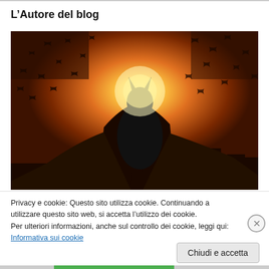L’Autore del blog
[Figure (illustration): Batman silhouette standing with cape spread wide, backlit by a glowing sun/light source, surrounded by many bats flying in an orange/amber sky. Dark dramatic movie poster style image.]
Privacy e cookie: Questo sito utilizza cookie. Continuando a utilizzare questo sito web, si accetta l’utilizzo dei cookie.
Per ulteriori informazioni, anche sul controllo dei cookie, leggi qui:
Informativa sui cookie
Chiudi e accetta